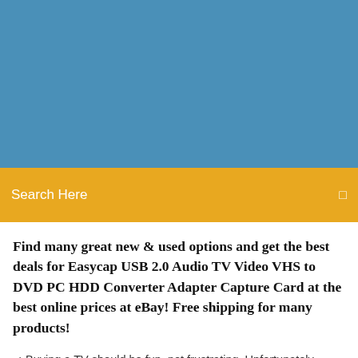[Figure (other): Blue header banner background]
Search Here
Find many great new & used options and get the best deals for Easycap USB 2.0 Audio TV Video VHS to DVD PC HDD Converter Adapter Capture Card at the best online prices at eBay! Free shipping for many products!
Buying a TV should be fun, not frustrating. Unfortunately, there are so many brands to sift through, which can be overwhelming. We count down the best TV manufacturers out there, including a few